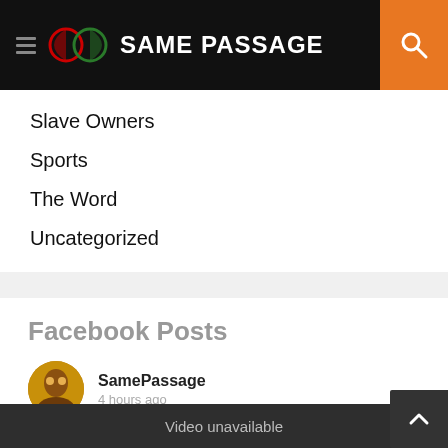SAME PASSAGE
Slave Owners
Sports
The Word
Uncategorized
Facebook Posts
SamePassage
4 hours ago
Video unavailable